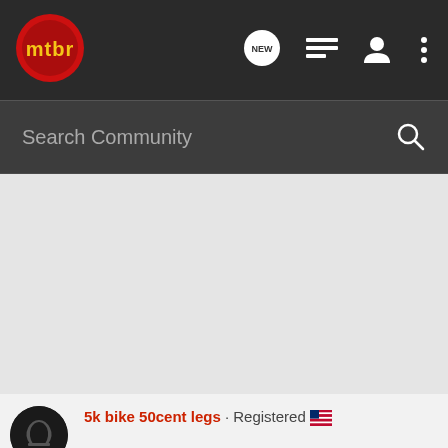[Figure (logo): mtbr logo - red circle with yellow text 'mtbr' on dark navbar]
[Figure (screenshot): Navigation icons: NEW speech bubble, list icon, user icon, three dots menu]
Search Community
5k bike 50cent legs · Registered
[Figure (photo): Cabela's Highest-Rated Gear advertisement banner with star rating 4.2 and a meat grinder product image with play button]